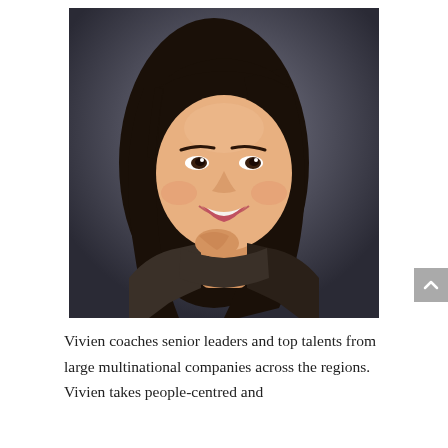[Figure (photo): Professional headshot of a smiling Asian woman with long dark hair, wearing a dark blazer, posed with her chin resting near her hand against a dark grey studio background.]
Vivien coaches senior leaders and top talents from large multinational companies across the regions. Vivien takes people-centred and